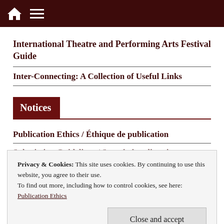International Theatre and Performing Arts Festival Guide
International Theatre and Performing Arts Festival Guide
Inter-Connecting: A Collection of Useful Links
Notices
Publication Ethics / Éthique de publication
Privacy & Cookies: This site uses cookies. By continuing to use this website, you agree to their use.
To find out more, including how to control cookies, see here: Publication Ethics
Close and accept